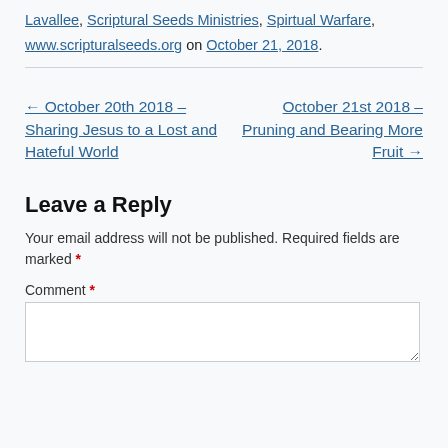Lavallee, Scriptural Seeds Ministries, Spirtual Warfare, www.scripturalseeds.org on October 21, 2018.
← October 20th 2018 – Sharing Jesus to a Lost and Hateful World
October 21st 2018 – Pruning and Bearing More Fruit →
Leave a Reply
Your email address will not be published. Required fields are marked *
Comment *